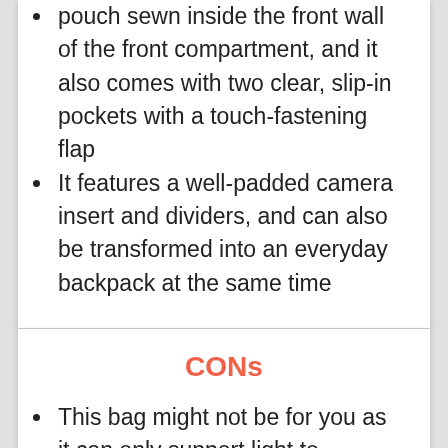pouch sewn inside the front wall of the front compartment, and it also comes with two clear, slip-in pockets with a touch-fastening flap
It features a well-padded camera insert and dividers, and can also be transformed into an everyday backpack at the same time
CONs
This bag might not be for you as it can only support light to